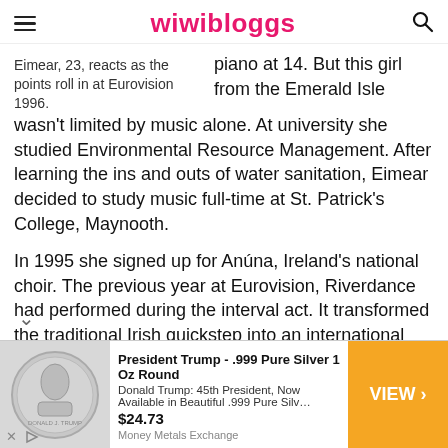wiwibloggs
Eimear, 23, reacts as the points roll in at Eurovision 1996.
piano at 14. But this girl from the Emerald Isle wasn't limited by music alone. At university she studied Environmental Resource Management. After learning the ins and outs of water sanitation, Eimear decided to study music full-time at St. Patrick's College, Maynooth.
In 1995 she signed up for Anúna, Ireland's national choir. The previous year at Eurovision, Riverdance had performed during the interval act. It transformed the traditional Irish quickstep into an international sensation. When the group rked on an international tour in '95, they took several
[Figure (photo): Advertisement banner showing a Donald Trump .999 Pure Silver 1 Oz Round coin. Price $24.73. From Money Metals Exchange. VIEW button in orange.]